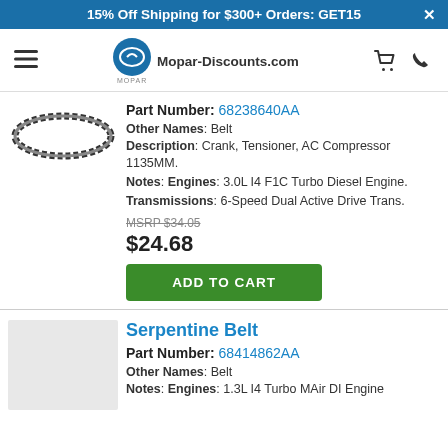15% Off Shipping for $300+ Orders: GET15
[Figure (logo): Mopar-Discounts.com website header with hamburger menu, Mopar logo, cart and phone icons]
[Figure (photo): Serpentine belt product image - black ribbed belt on white background]
Part Number: 68238640AA
Other Names: Belt
Description: Crank, Tensioner, AC Compressor 1135MM.
Notes: Engines: 3.0L I4 F1C Turbo Diesel Engine.
Transmissions: 6-Speed Dual Active Drive Trans.
MSRP $34.05
$24.68
ADD TO CART
Serpentine Belt
Part Number: 68414862AA
Other Names: Belt
Notes: Engines: 1.3L I4 Turbo MAir DI Engine